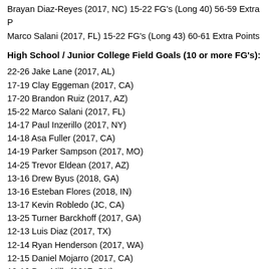Brayan Diaz-Reyes (2017, NC) 15-22 FG's (Long 40) 56-59 Extra P
Marco Salani (2017, FL) 15-22 FG's (Long 43) 60-61 Extra Points
High School / Junior College Field Goals (10 or more FG's):
22-26 Jake Lane (2017, AL)
17-19 Clay Eggeman (2017, CA)
17-20 Brandon Ruiz (2017, AZ)
15-22 Marco Salani (2017, FL)
14-17 Paul Inzerillo (2017, NY)
14-18 Asa Fuller (2017, CA)
14-19 Parker Sampson (2017, MO)
14-25 Trevor Eldean (2017, AZ)
13-16 Drew Byus (2018, GA)
13-16 Esteban Flores (2018, IN)
13-17 Kevin Robledo (JC, CA)
13-25 Turner Barckhoff (2017, GA)
12-13 Luis Diaz (2017, TX)
12-14 Ryan Henderson (2017, WA)
12-15 Daniel Mojarro (2017, CA)
12-16 Dan Mills (2017, OH)
12-16 Matt Peterson (2017, NC)